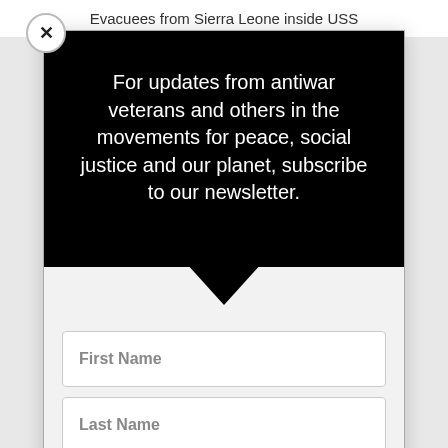Evacuees from Sierra Leone inside USS
For updates from antiwar veterans and others in the movements for peace, social justice and our planet, subscribe to our newsletter.
First Name
Last Name
Email
SUBSCRIBE!
We send our newsletters via MailChimp. Each one has an easy unsubscribe link.